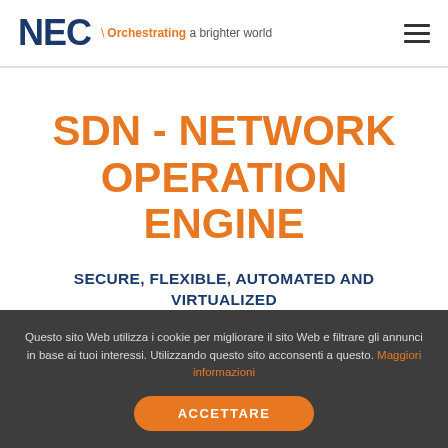NEC \ Orchestrating a brighter world
SDN - NETWORK OPERATION ENGINE
SECURE, FLEXIBLE, AUTOMATED AND VIRTUALIZED NETWORK MANAGEMENT
Questo sito Web utilizza i cookie per migliorare il sito Web e filtrare gli annunci in base ai tuoi interessi. Utilizzando questo sito acconsenti a questo. Maggiori informazioni
ACCETTARE